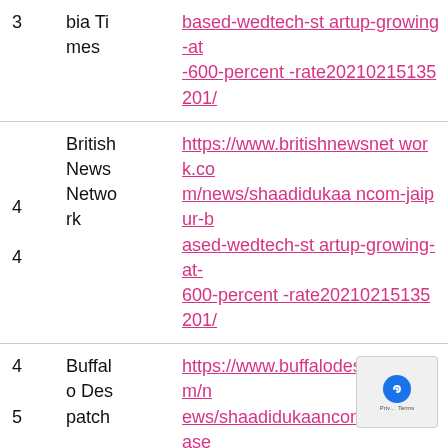| # | Source | URL |
| --- | --- | --- |
| 3 | bia Times | based-wedtech-startup-growing-at-600-percent-rate20210215135201/ |
| 4
4 | British News Network | https://www.britishnewsnetwork.com/news/shaadidukaan com-jaipur-based-wedtech-startup-growing-at-600-percent-rate20210215135201/ |
| 4
5 | Buffalo Despatch | https://www.buffalodespatch.com/news/shaadidukaancom-jaipur-based-wedtech-startup-growing-at-600-percent-rate20210215135201/ |
|  | Califor | https://www.californiastar.ne ws/ |